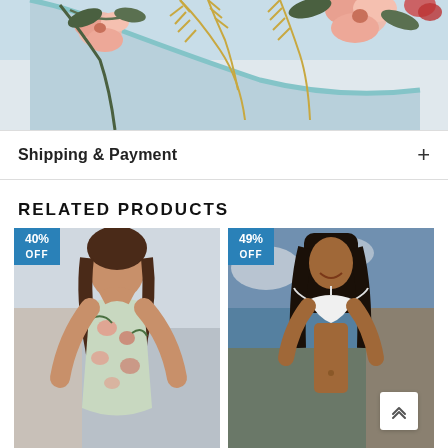[Figure (photo): Close-up of light blue floral print bikini/swimsuit fabric with tropical flowers and leaves pattern on white background]
Shipping & Payment
RELATED PRODUCTS
[Figure (photo): Woman wearing floral print one-piece swimsuit, 40% OFF badge in top-left corner]
[Figure (photo): Woman wearing white triangle bikini top outdoors, 49% OFF badge in top-left corner]